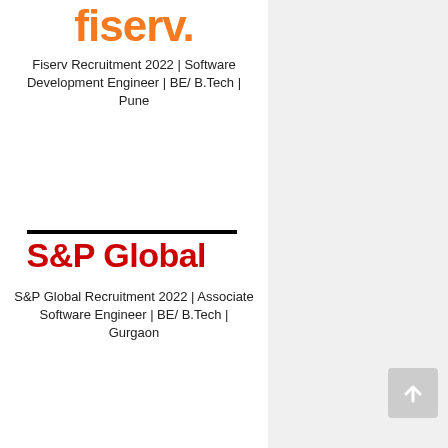[Figure (logo): Fiserv logo in orange bold text]
Fiserv Recruitment 2022 | Software Development Engineer | BE/ B.Tech | Pune
[Figure (logo): S&P Global logo with black horizontal line above red bold text]
S&P Global Recruitment 2022 | Associate Software Engineer | BE/ B.Tech | Gurgaon